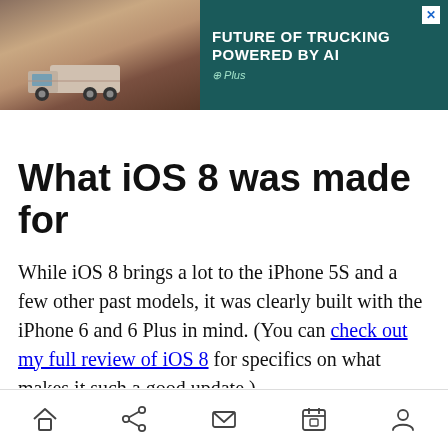[Figure (other): Advertisement banner for 'Future of Trucking Powered by AI' by G Plus, showing a truck in a desert landscape on a dark teal background, with a close button (X) in the top right.]
What iOS 8 was made for
While iOS 8 brings a lot to the iPhone 5S and a few other past models, it was clearly built with the iPhone 6 and 6 Plus in mind. (You can check out my full review of iOS 8 for specifics on what makes it such a good update.)
[Figure (other): Mobile browser bottom navigation bar with icons: home, share, mail/envelope, calendar, and person/profile.]